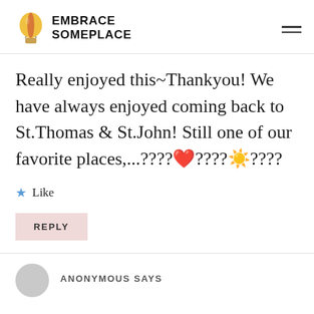EMBRACE SOMEPLACE
Really enjoyed this~Thankyou! We have always enjoyed coming back to St.Thomas & St.John! Still one of our favorite places,...????❤️????☀️????
Like
REPLY
ANONYMOUS SAYS